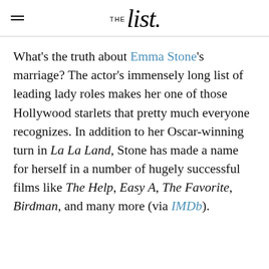THE list.
What's the truth about Emma Stone's marriage? The actor's immensely long list of leading lady roles makes her one of those Hollywood starlets that pretty much everyone recognizes. In addition to her Oscar-winning turn in La La Land, Stone has made a name for herself in a number of hugely successful films like The Help, Easy A, The Favorite, Birdman, and many more (via IMDb).